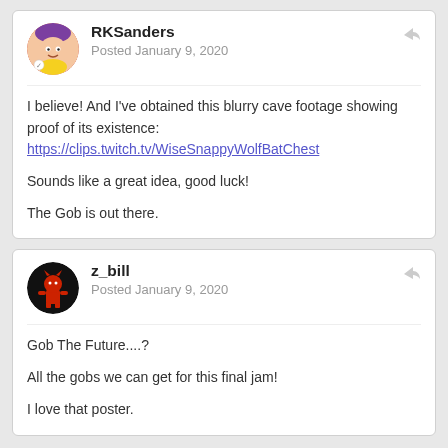RKSanders
Posted January 9, 2020
I believe! And I've obtained this blurry cave footage showing proof of its existence: https://clips.twitch.tv/WiseSnappyWolfBatChest

Sounds like a great idea, good luck!

The Gob is out there.
z_bill
Posted January 9, 2020
Gob The Future....?

All the gobs we can get for this final jam!

I love that poster.